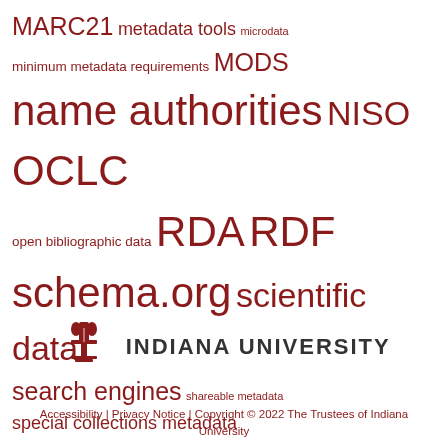MARC21 metadata tools microdata minimum metadata requirements MODS name authorities NISO OCLC open bibliographic data RDA RDF schema.org scientific data search engines shareable metadata special collections metadata standards bias structural metadata user-contributed metadata VIAF W3C webinars web metadata Wikipedia XML
[Figure (logo): Indiana University logo with torch symbol and text INDIANA UNIVERSITY]
Accessibility | Privacy Notice | Copyright © 2022 The Trustees of Indiana University